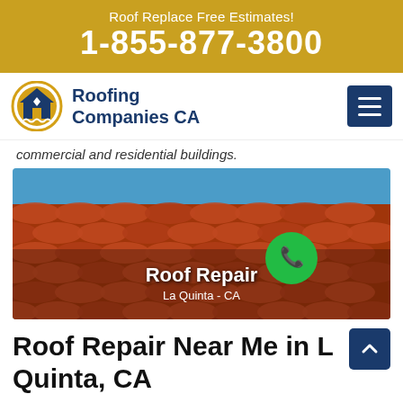Roof Replace Free Estimates! 1-855-877-3800
[Figure (logo): Roofing Companies CA logo with house/chevron icon]
commercial and residential buildings.
[Figure (photo): Workers repairing a red tile roof with blue sky background. Overlay text: Roof Repair, La Quinta - CA. Green phone call button.]
Roof Repair Near Me in La Quinta, CA